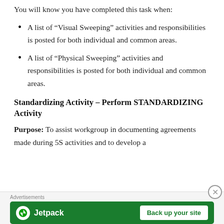You will know you have completed this task when:
A list of “Visual Sweeping” activities and responsibilities is posted for both individual and common areas.
A list of “Physical Sweeping” activities and responsibilities is posted for both individual and common areas.
Standardizing Activity – Perform STANDARDIZING Activity
Purpose: To assist workgroup in documenting agreements made during 5S activities and to develop a